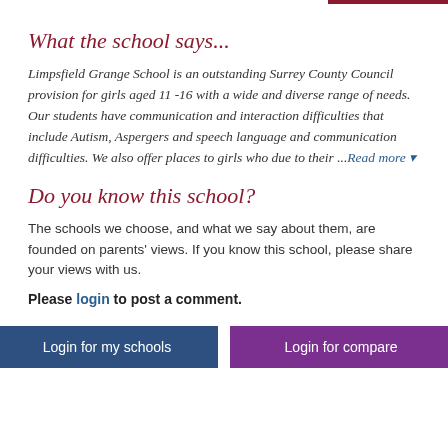What the school says...
Limpsfield Grange School is an outstanding Surrey County Council provision for girls aged 11 -16 with a wide and diverse range of needs. Our students have communication and interaction difficulties that include Autism, Aspergers and speech language and communication difficulties. We also offer places to girls who due to their ...Read more
Do you know this school?
The schools we choose, and what we say about them, are founded on parents' views. If you know this school, please share your views with us.
Please login to post a comment.
[Figure (other): Two buttons: 'Login for my schools' (dark blue) and 'Login for compare' (purple)]